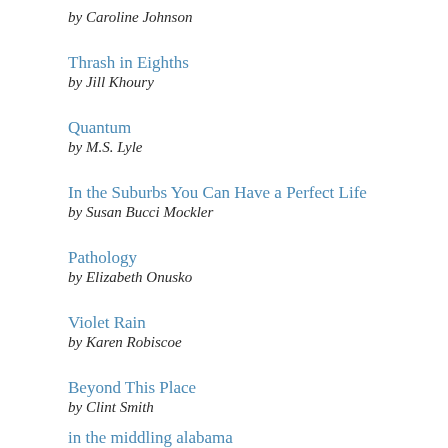by Caroline Johnson
Thrash in Eighths
by Jill Khoury
Quantum
by M.S. Lyle
In the Suburbs You Can Have a Perfect Life
by Susan Bucci Mockler
Pathology
by Elizabeth Onusko
Violet Rain
by Karen Robiscoe
Beyond This Place
by Clint Smith
in the middling alabama